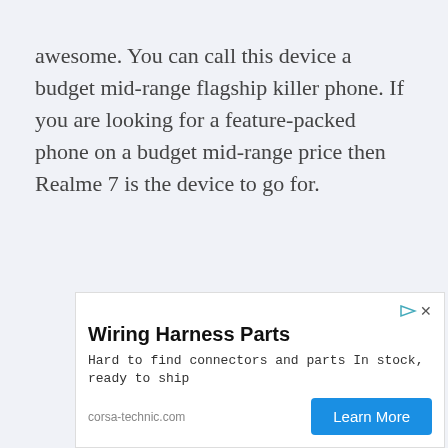awesome. You can call this device a budget mid-range flagship killer phone. If you are looking for a feature-packed phone on a budget mid-range price then Realme 7 is the device to go for.
[Figure (other): Advertisement for Wiring Harness Parts from corsa-technic.com with a 'Learn More' button]